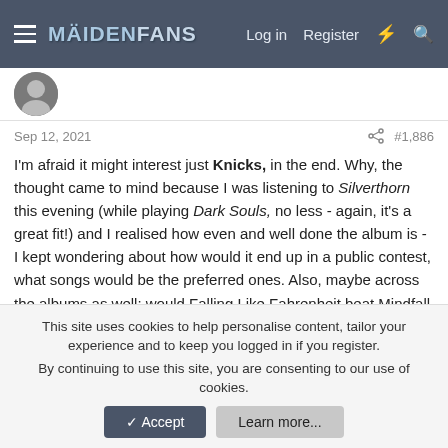MaidenFans — Log in  Register
Sep 12, 2021  #1,886
I'm afraid it might interest just Knicks, in the end. Why, the thought came to mind because I was listening to Silverthorn this evening (while playing Dark Souls, no less - again, it's a great fit!) and I realised how even and well done the album is - I kept wondering about how would it end up in a public contest, what songs would be the preferred ones. Also, maybe across the albums as well: would Falling Like Fahrenheit beat Mindfall Remedy? And how about the second and the third track off that Bathory epic vs ... dunno, Veritas? I'm just wondering what the results would be, but maybe it's gonna be just me wondering in the end 😁
This site uses cookies to help personalise content, tailor your experience and to keep you logged in if you register.
By continuing to use this site, you are consenting to our use of cookies.